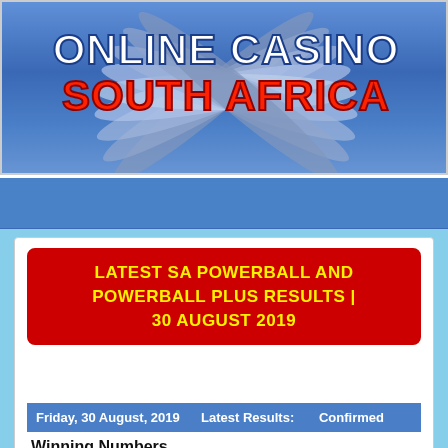[Figure (logo): Online Casino South Africa banner with casino chips/cards fanned out on blue background, with stylized text 'Online Casino South Africa']
LATEST SA POWERBALL AND POWERBALL PLUS RESULTS | 30 AUGUST 2019
| Friday, 30 August, 2019 | Latest Results: | Confirmed |
| --- | --- | --- |
Winning Numbers
[Figure (infographic): Three lottery balls showing numbers 47 (pink), 40 (orange), 8 (green), and Powerball label in orange]
Powerball: